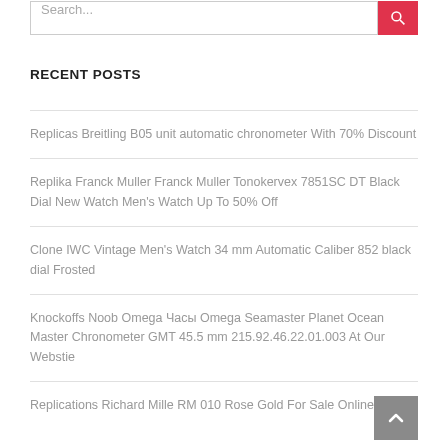Replicas Breitling B05 unit automatic chronometer With 70% Discount
Replika Franck Muller Franck Muller Tonokervex 7851SC DT Black Dial New Watch Men's Watch Up To 50% Off
Clone IWC Vintage Men's Watch 34 mm Automatic Caliber 852 black dial Frosted
Knockoffs Noob Omega Часы Omega Seamaster Planet Ocean Master Chronometer GMT 45.5 mm 215.92.46.22.01.003 At Our Webstie
Replications Richard Mille RM 010 Rose Gold For Sale Online